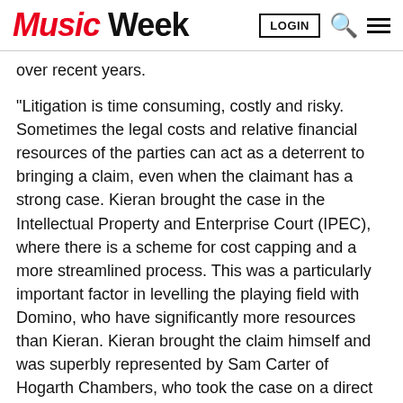Music Week | LOGIN
over recent years.
"Litigation is time consuming, costly and risky. Sometimes the legal costs and relative financial resources of the parties can act as a deterrent to bringing a claim, even when the claimant has a strong case. Kieran brought the case in the Intellectual Property and Enterprise Court (IPEC), where there is a scheme for cost capping and a more streamlined process. This was a particularly important factor in levelling the playing field with Domino, who have significantly more resources than Kieran. Kieran brought the claim himself and was superbly represented by Sam Carter of Hogarth Chambers, who took the case on a direct access basis. Sam works for a prestigious Chambers, and is a highly intelligent and strategic barrister. He also is passionate about music and was committed to the greater goals that this case could achieve for other artists.
"The case came at an important time whilst there was a government enquiry into the economics of streaming and the Broken Record campaign has been gaining increasing momentum. It was mentioned in parliament by MP Kevin Brennan. Recently the